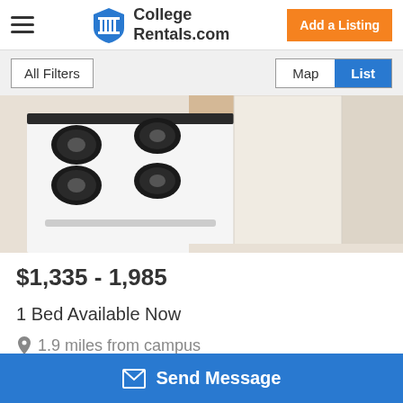College Rentals.com — Add a Listing
All Filters | Map | List
[Figure (photo): Kitchen photo showing white gas stove and hardwood floor]
$1,335 - 1,985
1 Bed Available Now
1.9 miles from campus
(855) 453-1340
Send Message